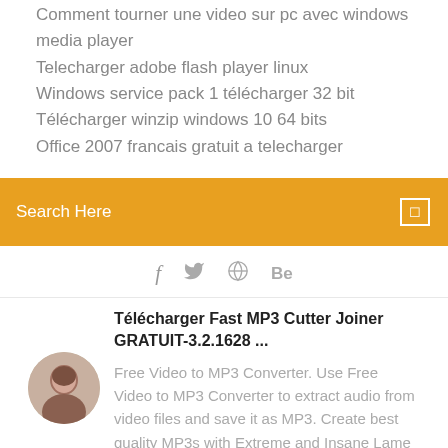Comment tourner une video sur pc avec windows media player
Telecharger adobe flash player linux
Windows service pack 1 télécharger 32 bit
Télécharger winzip windows 10 64 bits
Office 2007 francais gratuit a telecharger
[Figure (screenshot): Search bar with orange background and Search Here placeholder text]
[Figure (infographic): Social media icons: Facebook, Twitter, Dribbble, Behance]
Télécharger Fast MP3 Cutter Joiner GRATUIT-3.2.1628 ...
Free Video to MP3 Converter. Use Free Video to MP3 Converter to extract audio from video files and save it as MP3. Create best quality MP3s with Extreme and Insane Lame encoder presets